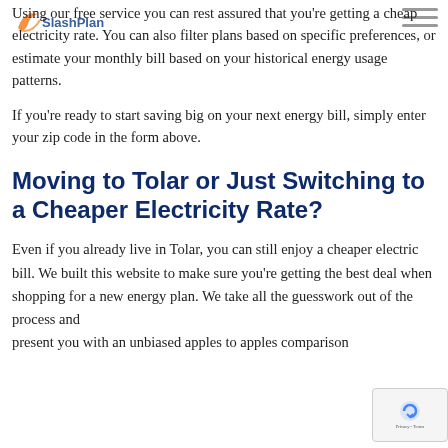[Figure (logo): SlashPlan logo with orange swoosh and blue text]
Using our free service you can rest assured that you're getting a cheap electricity rate. You can also filter plans based on specific preferences, or estimate your monthly bill based on your historical energy usage patterns.
If you're ready to start saving big on your next energy bill, simply enter your zip code in the form above.
Moving to Tolar or Just Switching to a Cheaper Electricity Rate?
Even if you already live in Tolar, you can still enjoy a cheaper electric bill. We built this website to make sure you're getting the best deal when shopping for a new energy plan. We take all the guesswork out of the process and present you with an unbiased apples to apples comparison